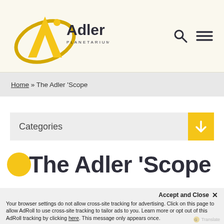[Figure (logo): Adler Planetarium logo with yellow stylized letter A and orbital ring, with 'Adler PLANETARIUM' wordmark in dark gray]
[Figure (infographic): Search icon (magnifying glass) and hamburger menu icon in dark gray on cream background]
Home » The Adler 'Scope
Categories
The Adler 'Scope
Accept and Close ×
Your browser settings do not allow cross-site tracking for advertising. Click on this page to allow AdRoll to use cross-site tracking to tailor ads to you. Learn more or opt out of this AdRoll tracking by clicking here. This message only appears once.